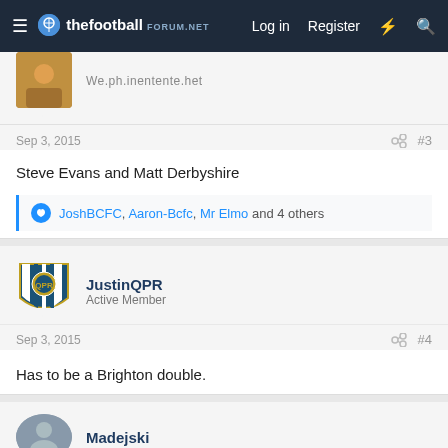thefootballforum.net — Log in  Register
Steve Evans and Matt Derbyshire
JoshBCFC, Aaron-Bcfc, Mr Elmo and 4 others
Sep 3, 2015  #3
JustinQPR
Active Member
Sep 3, 2015  #4
Has to be a Brighton double.
Madejski